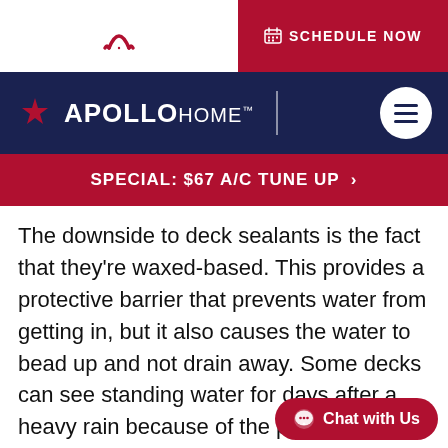SCHEDULE NOW
[Figure (logo): Apollo Home logo with sun/fan icon and navigation hamburger menu on dark navy background]
SPECIAL: $67 A/C TUNE UP >
The downside to deck sealants is the fact that they're waxed-based. This provides a protective barrier that prevents water from getting in, but it also causes the water to bead up and not drain away. Some decks can see standing water for days after a heavy rain because of the protectant. To keep the protection in place, it's necessary to reduce the protecta...